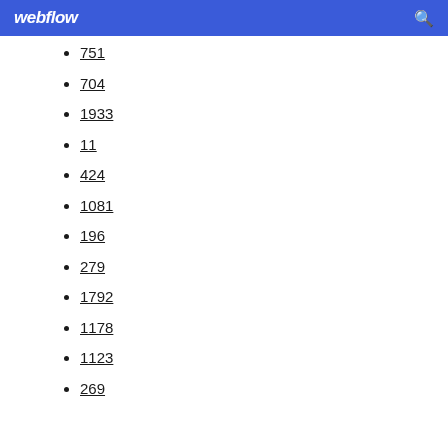webflow
751
704
1933
11
424
1081
196
279
1792
1178
1123
269